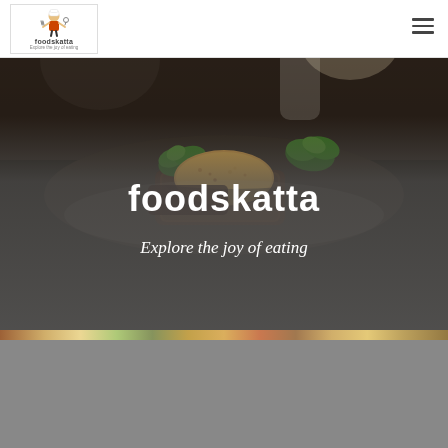[Figure (logo): foodskatta logo with chef icon and tagline 'Explore the joy of eating']
[Figure (photo): Close-up food photography showing a plated gourmet dish with garnish of parsley/herbs on a dark background]
foodskatta
Explore the joy of eating